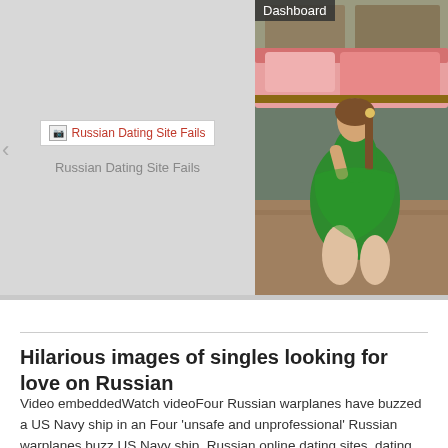[Figure (photo): Slideshow/gallery widget showing two panels: left panel is grey with a broken image placeholder labeled 'Russian Dating Site Fails', right panel shows a photo of a young woman in a green dress posing in a room with a pink sofa/bed. A 'Dashboard' label appears top-right. Bottom caption reads 'Russian Dating Site Fails'.]
Russian Dating Site Fails
Hilarious images of singles looking for love on Russian
Video embeddedWatch videoFour Russian warplanes have buzzed a US Navy ship in an Four 'unsafe and unprofessional' Russian warplanes buzz US Navy ship. Russian online dating sites, dating sites like all different technology talk up line that both works or fails. A mailorder bride is a woman who lists herself in affiliated with webbased international dating